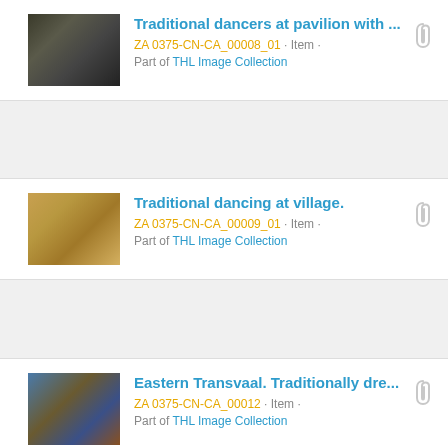Traditional dancers at pavilion with ... | ZA 0375-CN-CA_00008_01 · Item · Part of THL Image Collection
Traditional dancing at village. | ZA 0375-CN-CA_00009_01 · Item · Part of THL Image Collection
Eastern Transvaal. Traditionally dre... | ZA 0375-CN-CA_00012 · Item · Part of THL Image Collection